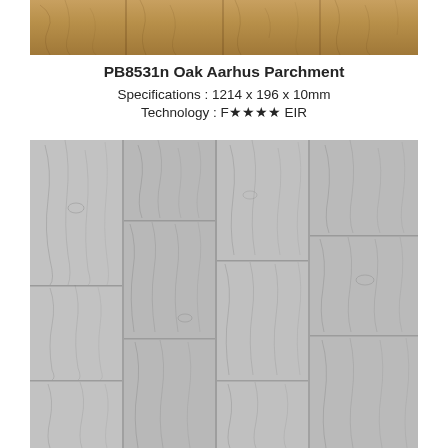[Figure (photo): Close-up photo of oak laminate flooring with warm brown/honey tones showing wood grain texture — PB8531n Oak Aarhus Parchment sample]
PB8531n Oak Aarhus Parchment
Specifications : 1214 x 196 x 10mm
Technology : F★★★★ EIR
[Figure (photo): Large sample photo of grey/light oak laminate flooring (PB8531n) showing multiple planks with wood grain texture in light grey/silver tones with subtle darker grain patterns]